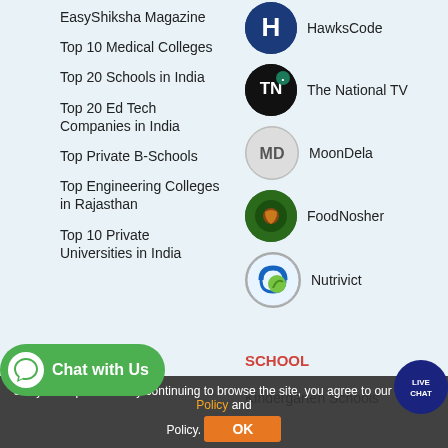EasyShiksha Magazine
Top 10 Medical Colleges
Top 20 Schools in India
Top 20 Ed Tech Companies in India
Top Private B-Schools
Top Engineering Colleges in Rajasthan
Top 10 Private Universities in India
[Figure (logo): HawksCode logo - blue circle with H letter]
HawksCode
[Figure (logo): The National TV logo - black circle with TN letters]
The National TV
[Figure (logo): MoonDela logo - light gray circle with MD letters]
MoonDela
[Figure (logo): FoodNosher logo - dark green circle with food icon]
FoodNosher
[Figure (logo): Nutrivict logo - circle with blue and green design]
Nutrivict
COMPANY
SCHOOL
Kindergarten Schools